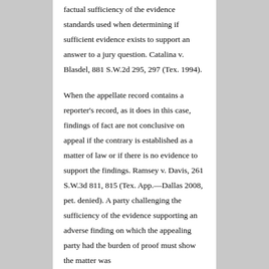factual sufficiency of the evidence standards used when determining if sufficient evidence exists to support an answer to a jury question. Catalina v. Blasdel, 881 S.W.2d 295, 297 (Tex. 1994).
When the appellate record contains a reporter's record, as it does in this case, findings of fact are not conclusive on appeal if the contrary is established as a matter of law or if there is no evidence to support the findings. Ramsey v. Davis, 261 S.W.3d 811, 815 (Tex. App.—Dallas 2008, pet. denied). A party challenging the sufficiency of the evidence supporting an adverse finding on which the appealing party had the burden of proof must show the matter was